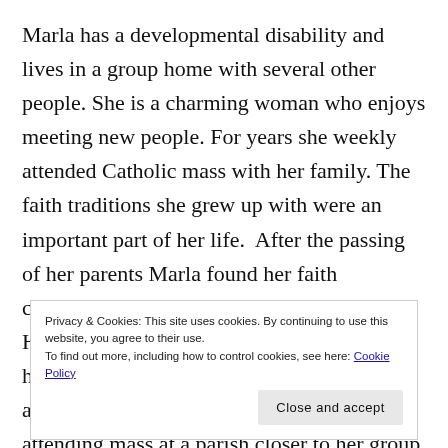Marla has a developmental disability and lives in a group home with several other people. She is a charming woman who enjoys meeting new people. For years she weekly attended Catholic mass with her family. The faith traditions she grew up with were an important part of her life.  After the passing of her parents Marla found her faith connections even more meaningful. However, because she could no longer spend her weekends with her parents she stopped attending her home parish and began attending mass at a parish closer to her group home. This new...
Privacy & Cookies: This site uses cookies. By continuing to use this website, you agree to their use.
To find out more, including how to control cookies, see here: Cookie Policy
[Close and accept]